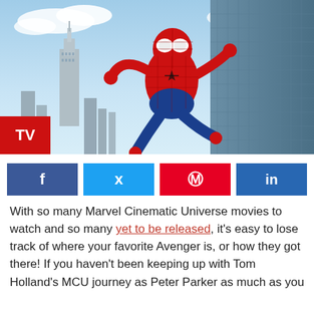[Figure (photo): Spider-Man in red and blue suit climbing a glass skyscraper with New York City skyline and Empire State Building in the background, blue sky with clouds. Red 'TV' badge in lower left corner of image.]
[Figure (infographic): Social media sharing buttons: Facebook (dark blue, f icon), Twitter (light blue, bird icon), Pinterest (red, p icon), LinkedIn (blue, in icon)]
With so many Marvel Cinematic Universe movies to watch and so many yet to be released, it's easy to lose track of where your favorite Avenger is, or how they got there! If you haven't been keeping up with Tom Holland's MCU journey as Peter Parker as much as you